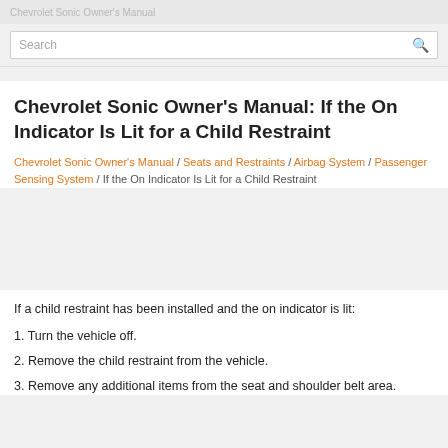Chevrolet Sonic Owner's Manual
Chevrolet Sonic Owner's Manual: If the On Indicator Is Lit for a Child Restraint
Chevrolet Sonic Owner's Manual / Seats and Restraints / Airbag System / Passenger Sensing System / If the On Indicator Is Lit for a Child Restraint
If a child restraint has been installed and the on indicator is lit:
1. Turn the vehicle off.
2. Remove the child restraint from the vehicle.
3. Remove any additional items from the seat and shoulder belt area.